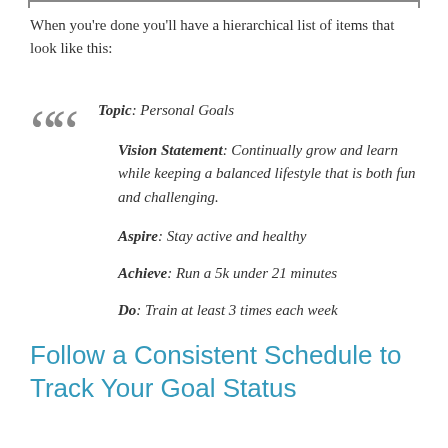When you’re done you’ll have a hierarchical list of items that look like this:
Topic: Personal Goals
Vision Statement: Continually grow and learn while keeping a balanced lifestyle that is both fun and challenging.
Aspire: Stay active and healthy
Achieve: Run a 5k under 21 minutes
Do: Train at least 3 times each week
Follow a Consistent Schedule to Track Your Goal Status